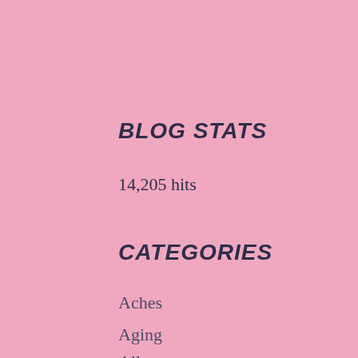BLOG STATS
14,205 hits
CATEGORIES
Aches
Aging
Alleys